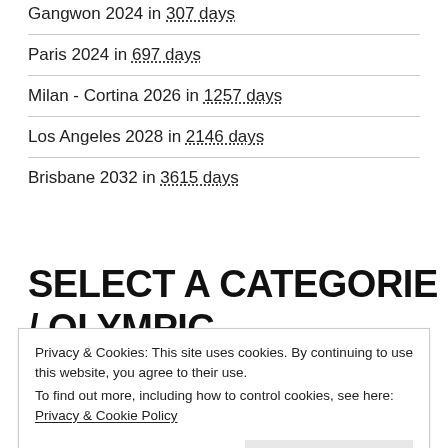Gangwon 2024 in 307 days
Paris 2024 in 697 days
Milan - Cortina 2026 in 1257 days
Los Angeles 2028 in 2146 days
Brisbane 2032 in 3615 days
SELECT A CATEGORIE / OLYMPIC HOST CITY
Privacy & Cookies: This site uses cookies. By continuing to use this website, you agree to their use.
To find out more, including how to control cookies, see here: Privacy & Cookie Policy